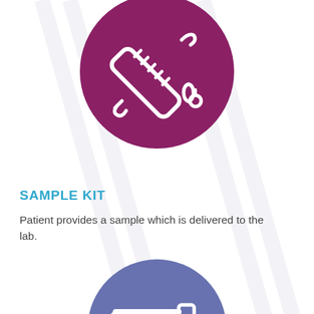[Figure (illustration): Purple circle icon showing a syringe/pipette and blood drop symbols in white line art]
SAMPLE KIT
Patient provides a sample which is delivered to the lab.
[Figure (illustration): Blue-purple circle icon (partially visible, cropped at bottom) showing lab tools including a dropper and test strips in white line art]